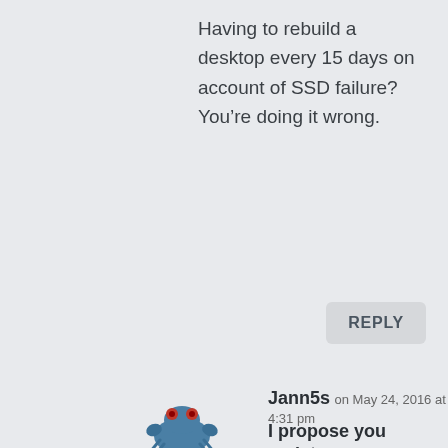Having to rebuild a desktop every 15 days on account of SSD failure? You’re doing it wrong.
REPLY
[Figure (illustration): Cartoon crab avatar icon with red eyes and blue body]
Jann5s on May 24, 2016 at 4:31 pm
I propose you resist, cause
I propose you resist, cause if you try an ssd once you’re addicted and can never go back. There is no ssd detox program.
Edit:reply was supposed to be